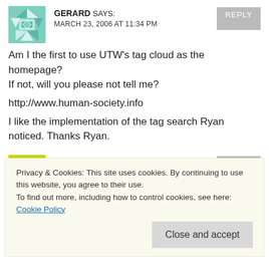GERARD SAYS:
MARCH 23, 2006 AT 11:34 PM
Am I the first to use UTW's tag cloud as the homepage? If not, will you please not tell me?
http://www.human-society.info
I like the implementation of the tag search Ryan noticed. Thanks Ryan.
GINO SAYS:
MARCH 25, 2006 AT 3:00 AM
Privacy & Cookies: This site uses cookies. By continuing to use this website, you agree to their use.
To find out more, including how to control cookies, see here: Cookie Policy